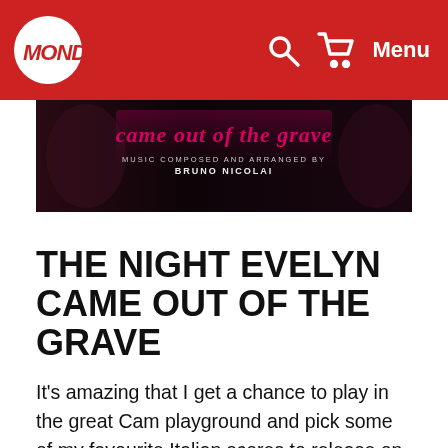MONDO — Menu
[Figure (photo): Banner image for 'The Night Evelyn Came Out of the Grave' soundtrack — dark moody background with pink/magenta stylized title text and credit line reading 'MUSIC COMPOSED AND ARRANGED BY BRUNO NICOLAI']
THE NIGHT EVELYN CAME OUT OF THE GRAVE
It's amazing that I get a chance to play in the great Cam playground and pick some of my favourite Italian scores to release on Death Waltz. For years, Bruno Nicolai was hidden in the shadows of his mentor Morricone; I think it's only been the last 18 months or so Nicolai has come to the